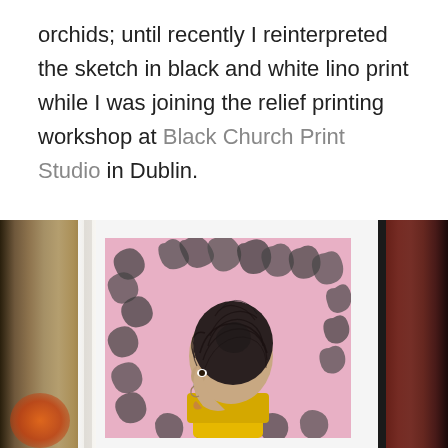orchids; until recently I reinterpreted the sketch in black and white lino print while I was joining the relief printing workshop at Black Church Print Studio in Dublin.
[Figure (photo): A photograph showing a lino print artwork displayed on a white mat/paper, flanked by two textured printing blocks — a beige/burlap-colored block on the left and a dark red/brown block on the right. The print depicts a person seen from behind/profile with detailed hair, wearing a yellow top, against a pink background with swirling black leaf/plant motifs.]